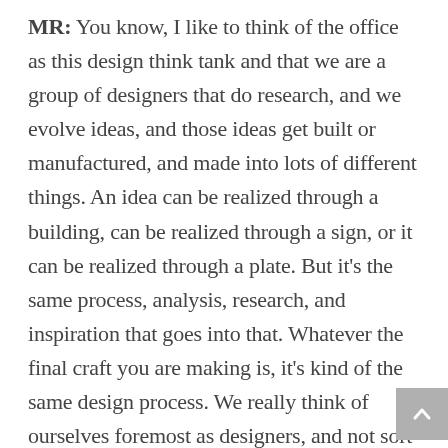MR: You know, I like to think of the office as this design think tank and that we are a group of designers that do research, and we evolve ideas, and those ideas get built or manufactured, and made into lots of different things. An idea can be realized through a building, can be realized through a sign, or it can be realized through a plate. But it's the same process, analysis, research, and inspiration that goes into that. Whatever the final craft you are making is, it's kind of the same design process. We really think of ourselves foremost as designers, and not sort of limited by a traditional discipline. We think of ourselves as interpreters of culture, just like someone who is making a movie or writing a book, trying to tell